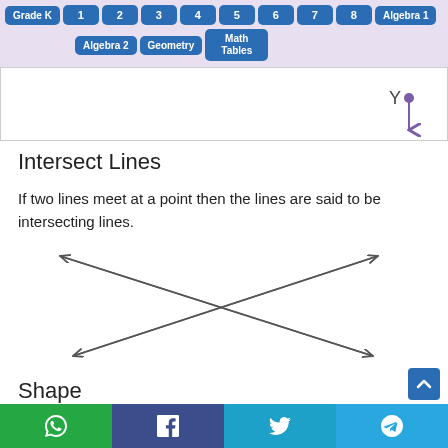Grade K 1 2 3 4 5 6 7 8 Algebra 1 | Algebra 2 Geometry Math Tables
[Figure (illustration): A point labeled Y with a purple downward arrow indicating a ray direction on a white background with grey border.]
Intersect Lines
If two lines meet at a point then the lines are said to be intersecting lines.
[Figure (illustration): Two straight lines with arrows crossing each other forming an X shape, illustrating intersecting lines.]
Shape
WhatsApp | Facebook | Twitter | Telegram